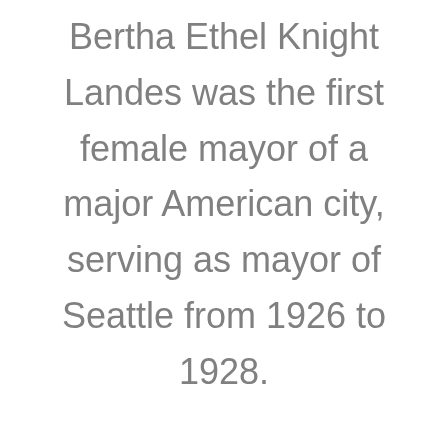Bertha Ethel Knight Landes was the first female mayor of a major American city, serving as mayor of Seattle from 1926 to 1928.